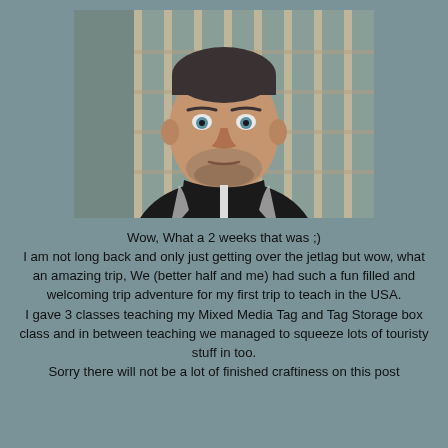[Figure (photo): A man with short hair and stubble beard wearing a black hoodie, taking a selfie in front of what appears to be a louvred door or window structure. The background shows vertical slats/bars.]
Wow, What a 2 weeks that was ;)
I am not long back and only just getting over the jetlag but wow, what an amazing trip, We (better half and me) had such a fun filled and welcoming trip adventure for my first trip to teach in the USA.
I gave 3 classes teaching my Mixed Media Tag and Tag Storage box class and in between teaching we managed to squeeze lots of touristy stuff in too.
Sorry there will not be a lot of finished craftiness on this post